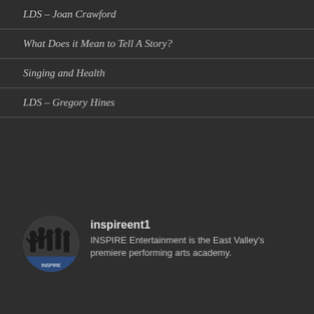LDS – Joan Crawford
What Does it Mean to Tell A Story?
Singing and Health
LDS – Gregory Hines
[Figure (photo): Circular avatar image showing silhouettes of dancers, logo for INSPIRE Entertainment]
inspireent1
INSPIRE Entertainment is the East Valley's premiere performing arts academy.